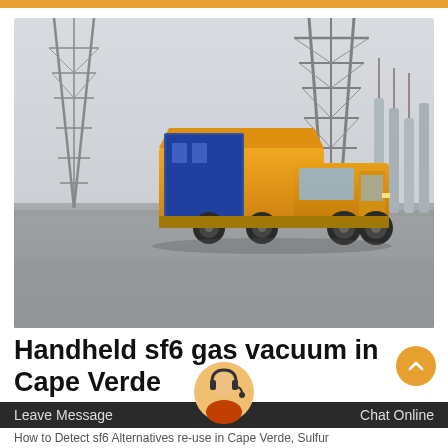[Figure (photo): An orange/yellow service truck parked at an electrical substation with large transmission towers and steel lattice structures in the background. The truck has a box-type body with what appears to be specialized equipment. The scene is on a paved road at the substation.]
Handheld sf6 gas vacuum in Cape Verde
How to Detect sf6 Alternatives re-use in Cape Verde, Sulfur